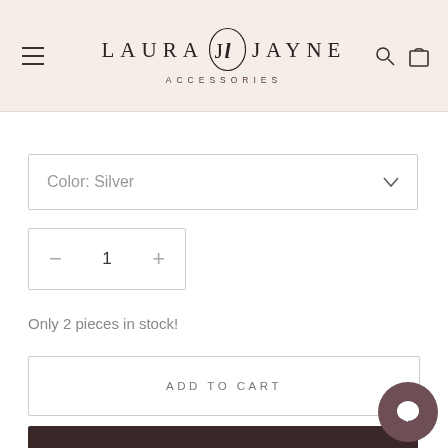[Figure (logo): Laura Jayne Accessories brand logo with stylized monogram in header]
Color: Silver
1
Only 2 pieces in stock!
ADD TO CART
BUY IT NOW